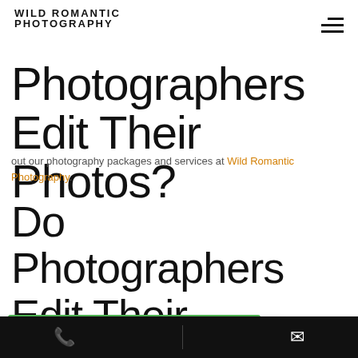WILD ROMANTIC PHOTOGRAPHY
Do Photographers Edit Their Photos?
out our photography packages and services at Wild Romantic Photography.
Do Photographers Edit Their Photos?`
[Figure (infographic): Google Rating card showing 5.0 stars based on 267 reviews with green top bar]
e your interest in itely must. The act of he process of creating a good photograph, and it is not complete once the shutter
Phone and mail contact buttons